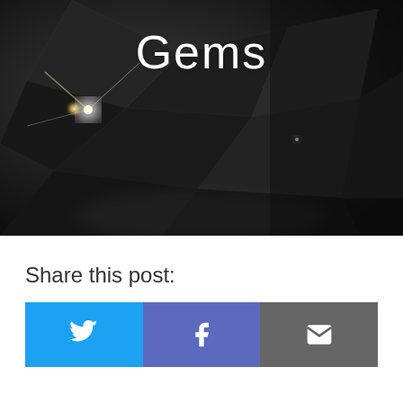[Figure (photo): Close-up dark photograph of a diamond gem with light reflections and sparkle, with the word 'Gems' overlaid in white text at the top center]
Gems
Share this post:
[Figure (infographic): Three social share buttons side by side: Twitter (blue bird icon), Facebook (blue-purple f icon), Email (gray envelope icon)]